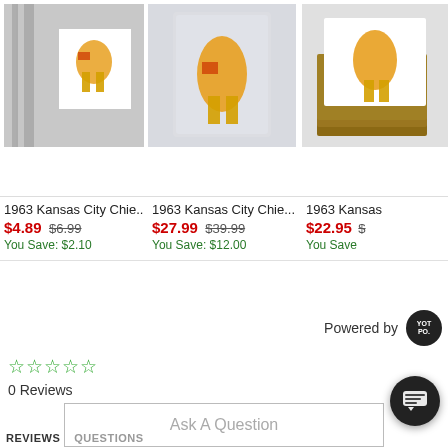[Figure (photo): Product card 1: 1963 Kansas City Chiefs magnet on a refrigerator, sale price $4.89 (was $6.99), You Save: $2.10]
[Figure (photo): Product card 2: 1963 Kansas City Chiefs metal sign, sale price $27.99 (was $39.99), You Save: $12.00]
[Figure (photo): Product card 3 (cropped): 1963 Kansas City Chiefs coasters, sale price $22.95, You Save amount cut off]
Powered by YOTPO
☆☆☆☆☆ 0 Reviews
Ask A Question
REVIEWS   QUESTIONS